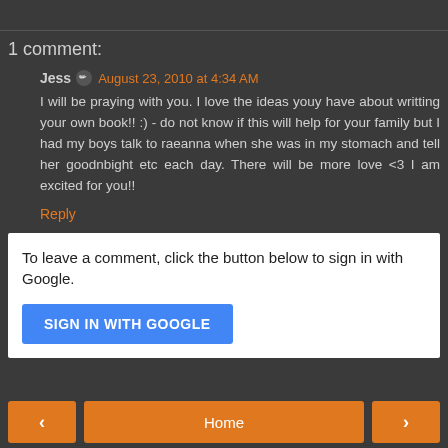1 comment:
Jess ✏ August 23, 2010 at 4:34 AM
I will be praying with you. I love the ideas youy have about writting your own book!! :) - do not know if this will help for your family but I had my boys talk to raeanna when she was in my stomach and tell her goodnbight etc each day. There will be more love <3 I am excited for you!!
Reply
To leave a comment, click the button below to sign in with Google.
SIGN IN WITH GOOGLE
‹  Home  ›